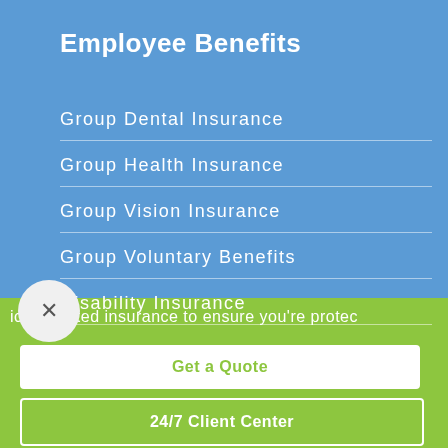Employee Benefits
Group Dental Insurance
Group Health Insurance
Group Vision Insurance
Group Voluntary Benefits
Disability Insurance
ice-oriented insurance to ensure you're protec
Get a Quote
24/7 Client Center